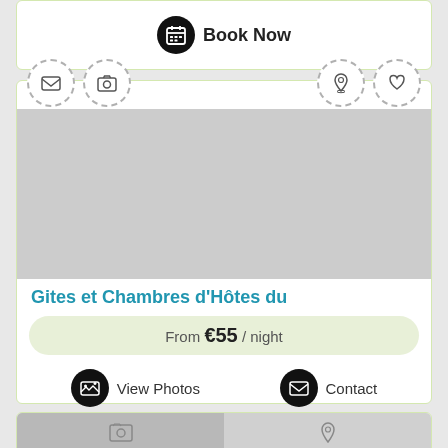[Figure (screenshot): Book Now button with calendar icon in a white card with green border]
Book Now
[Figure (screenshot): Listing card for Gites et Chambres d'Hôtes du with icon tabs (envelope, camera, location pin, heart), gray photo placeholder, price From €55 / night, View Photos and Contact buttons]
Gites et Chambres d'Hôtes du
From €55 / night
View Photos
Contact
[Figure (screenshot): Bottom card preview showing photo thumbnails and location icon]